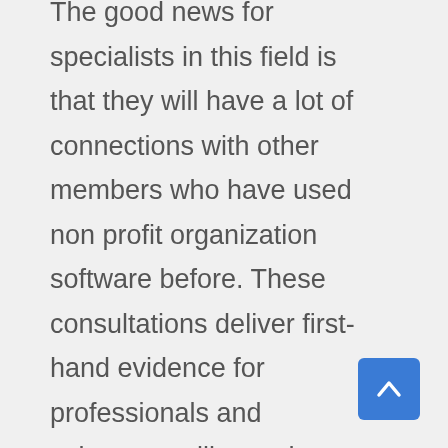The good news for specialists in this field is that they will have a lot of connections with other members who have used non profit organization software before. These consultations deliver first-hand evidence for professionals and volunteers alike as they develop a sense of what works according to the organization's size and schedule. Pay attention to these discussions because they can point groups in the right direction.